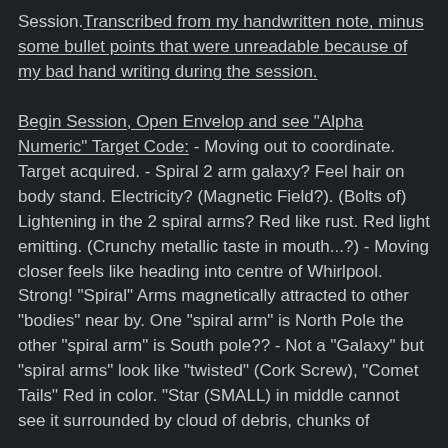Session.Transcribed from my handwritten note, minus some bullet points that were unreadable because of my bad hand writing during the session.
Begin Session, Open Envelop and see "Alpha Numeric" Target Code: - Moving out to coordinate. Target acquired. - Spiral 2 arm galaxy? Feel hair on body stand. Electricity? (Magnetic Field?). (Bolts of) Lightening in the 2 spiral arms? Red like rust. Red light emitting. (Crunchy metallic taste in mouth...?)  - Moving closer feels like heading into centre of Whirlpool. Strong! "Spiral" Arms magnetically attracted to other "bodies" near by. One "spiral arm" is North Pole the other "spiral arm" is South pole?? - Not a "Galaxy" but "spiral arms" look like "twisted" (Cork Screw), "Comet Tails" Red in color. "Star (SMALL) in middle cannot see it surrounded by cloud of debris, chunks of